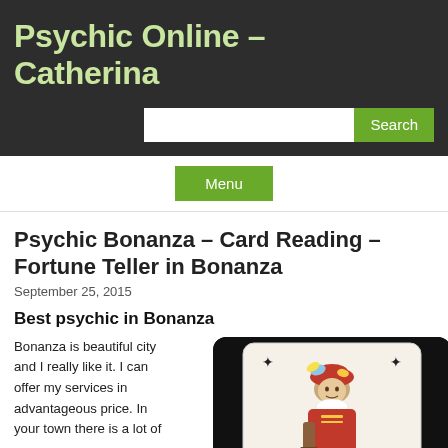Psychic Online – Catherina
Psychic Bonanza – Card Reading – Fortune Teller in Bonanza
September 25, 2015
Best psychic in Bonanza
Bonanza is beautiful city and I really like it. I can offer my services in advantageous price. In your town there is a lot of
[Figure (illustration): A playing card (jack/king figure) with colorful illustration on black background with rounded corners]